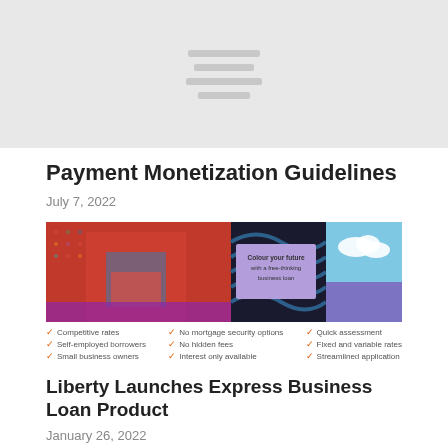[Figure (other): Gray placeholder image with horizontal lines]
Payment Monetization Guidelines
July 7, 2022
[Figure (photo): Advertisement image showing a woman in a colorful dress in a modern business setting with text: Colour your future with a free-thinking business loan. Features listed: Competitive rates, Self-employed borrowers, Small business owners, No mortgage security options, No hidden fees, Interest only available, Quick assessment, Fixed and variable rates, Streamlined application]
Liberty Launches Express Business Loan Product
January 26, 2022